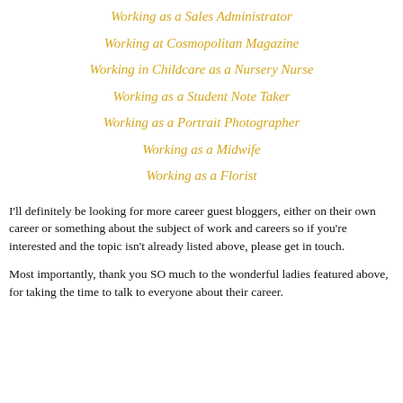Working as a Sales Administrator
Working at Cosmopolitan Magazine
Working in Childcare as a Nursery Nurse
Working as a Student Note Taker
Working as a Portrait Photographer
Working as a Midwife
Working as a Florist
I'll definitely be looking for more career guest bloggers, either on their own career or something about the subject of work and careers so if you're interested and the topic isn't already listed above, please get in touch.
Most importantly, thank you SO much to the wonderful ladies featured above, for taking the time to talk to everyone about their career.